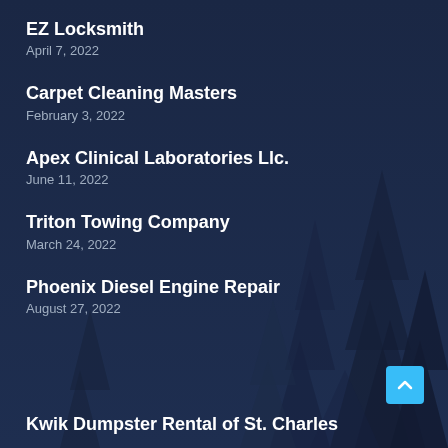EZ Locksmith
April 7, 2022
Carpet Cleaning Masters
February 3, 2022
Apex Clinical Laboratories Llc.
June 11, 2022
Triton Towing Company
March 24, 2022
Phoenix Diesel Engine Repair
August 27, 2022
Kwik Dumpster Rental of St. Charles